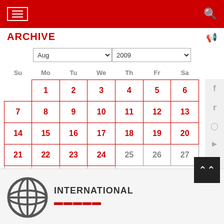Navigation header with hamburger menu and search icon
ARCHIVE
[Figure (screenshot): Month/year dropdown selectors showing Aug and 2009]
| Su | Mo | Tu | We | Th | Fr | Sa |
| --- | --- | --- | --- | --- | --- | --- |
|  | 1 | 2 | 3 | 4 | 5 | 6 |
| 7 | 8 | 9 | 10 | 11 | 12 | 13 |
| 14 | 15 | 16 | 17 | 18 | 19 | 20 |
| 21 | 22 | 23 | 24 | 25 | 26 | 27 |
| 28 | 29 | 30 | 31 |  |  |  |
[Figure (logo): Globe icon with INTERNATIONAL text and red banner text below — organization logo]